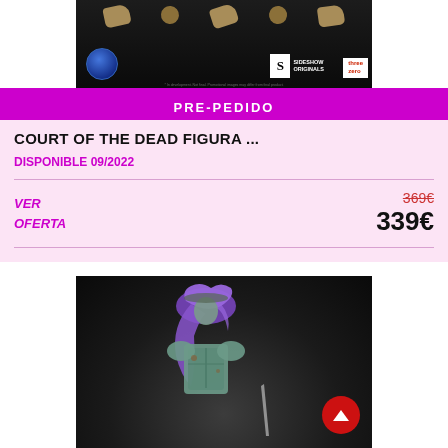[Figure (photo): Product accessory parts (hands/fists) on dark background with Sideshow Originals and threezero logos]
PRE-PEDIDO
COURT OF THE DEAD FIGURA ...
DISPONIBLE 09/2022
VER OFERTA
369€
339€
[Figure (photo): Court of the Dead figure with purple cape/hood and teal/green armor, photographed against dark background]